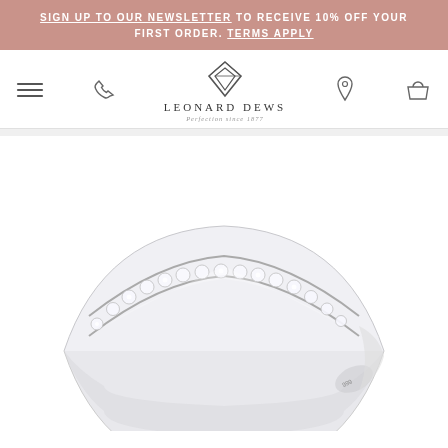SIGN UP TO OUR NEWSLETTER TO RECEIVE 10% OFF YOUR FIRST ORDER. TERMS APPLY
[Figure (logo): Leonard Dews jewellery brand logo with diamond shape icon, brand name and tagline 'Perfection since 1877'. Navigation bar with hamburger menu, phone icon, location pin icon, and shopping basket icon.]
[Figure (photo): Close-up photograph of a platinum diamond half-eternity wedding band ring with pavé-set round brilliant diamonds running along the centre channel of the band, shown at an angle on a white background.]